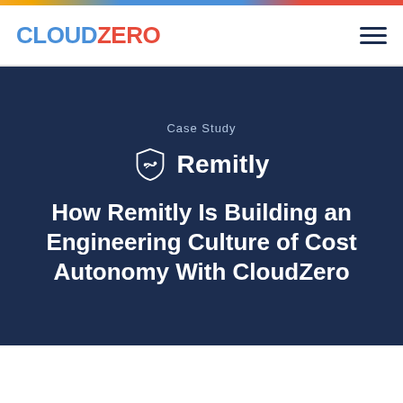CLOUDZERO
Case Study
[Figure (logo): Remitly shield logo with handshake icon and Remitly wordmark in white]
How Remitly Is Building an Engineering Culture of Cost Autonomy With CloudZero